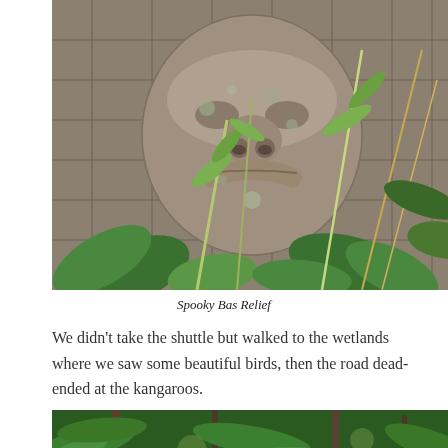[Figure (photo): A large stone bas relief carving of a face with rounded features, mounted on a stone block wall, surrounded by green tropical vegetation including bamboo and large-leafed plants.]
Spooky Bas Relief
We didn’t take the shuttle but walked to the wetlands where we saw some beautiful birds, then the road dead-ended at the kangaroos.
[Figure (photo): A lush tropical garden scene with palm fronds, ferns, and tall trees.]